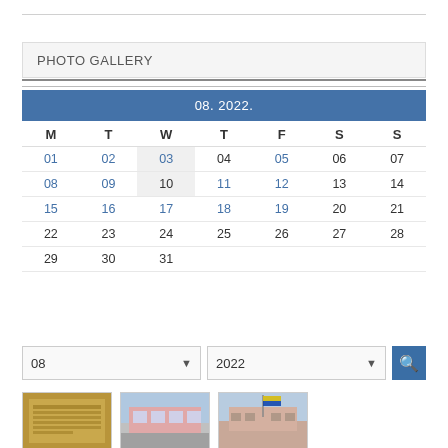PHOTO GALLERY
[Figure (other): Calendar for August 2022 showing dates 01-31 with linked days highlighted in blue]
[Figure (screenshot): Month/year dropdown selectors (08, 2022) with search button and three photo thumbnails below]
[Figure (photo): Three photo thumbnails: gold plaque/sign, pink building exterior, building with flag]
08
2022